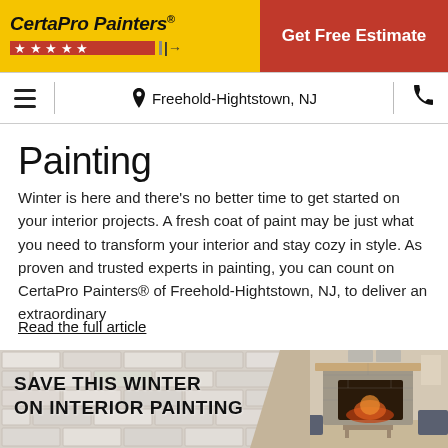CertaPro Painters® | Get Free Estimate
Freehold-Hightstown, NJ
Painting
Winter is here and there's no better time to get started on your interior projects. A fresh coat of paint may be just what you need to transform your interior and stay cozy in style. As proven and trusted experts in painting, you can count on CertaPro Painters® of Freehold-Hightstown, NJ, to deliver an extraordinary
Read the full article
[Figure (photo): Promotional banner with white painted brick wall on left and a cozy living room with a fireplace on right, with text overlay reading SAVE THIS WINTER ON INTERIOR PAINTING]